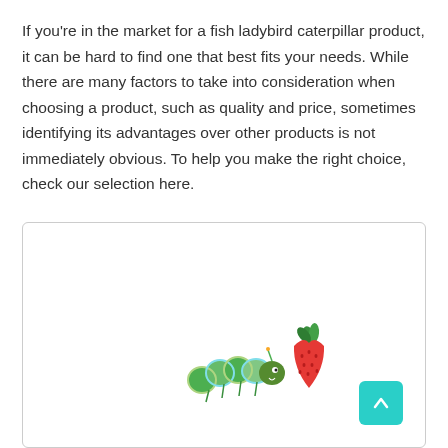If you're in the market for a fish ladybird caterpillar product, it can be hard to find one that best fits your needs. While there are many factors to take into consideration when choosing a product, such as quality and price, sometimes identifying its advantages over other products is not immediately obvious. To help you make the right choice, check our selection here.
[Figure (illustration): A bordered card/box containing an illustration of a green caterpillar and a red strawberry, positioned in the lower-left center area of the card. A teal/cyan colored scroll-to-top button with an upward arrow is in the bottom-right corner of the card.]